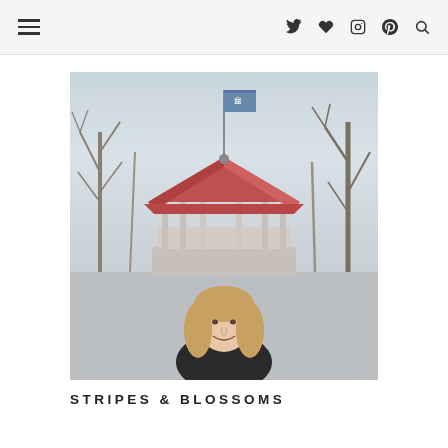Navigation bar with hamburger menu and social icons: Twitter, heart/Bloglovin, Instagram, Pinterest, Search
[Figure (photo): A woman smiling in front of a park gazebo with a red roof and a flag on top, surrounded by bare winter trees. Outdoor photo taken in a park setting.]
STRIPES & BLOSSOMS